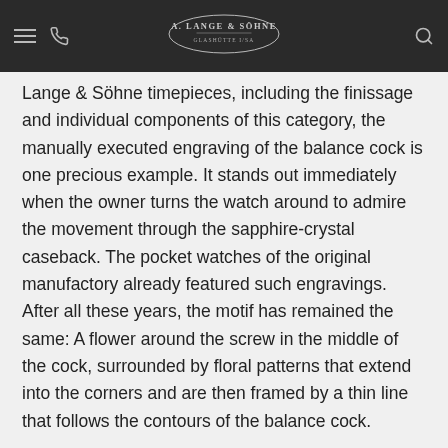A. Lange & Söhne — Navigation bar with hamburger menu, phone icon, logo, and search icon
Lange & Söhne timepieces, including the finissage and individual components of this category, the manually executed engraving of the balance cock is one precious example. It stands out immediately when the owner turns the watch around to admire the movement through the sapphire-crystal caseback. The pocket watches of the original manufactory already featured such engravings. After all these years, the motif has remained the same: A flower around the screw in the middle of the cock, surrounded by floral patterns that extend into the corners and are then framed by a thin line that follows the contours of the balance cock.
This basically predefined pattern is individually reproduced by every engraver who, for instance, can decide how many petals the flower should have. Additionally, each balance cock has its own